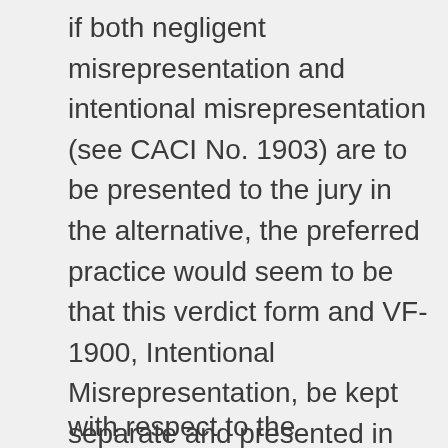if both negligent misrepresentation and intentional misrepresentation (see CACI No. 1903) are to be presented to the jury in the alternative, the preferred practice would seem to be that this verdict form and VF-1900, Intentional Misrepresentation, be kept separate and presented in the alternative. If different damages are recoverable on different causes of action, replace the damages tables in all of the verdict forms with CACI No. VF-3920, Damages on Multiple Legal Theories.
with respect to the